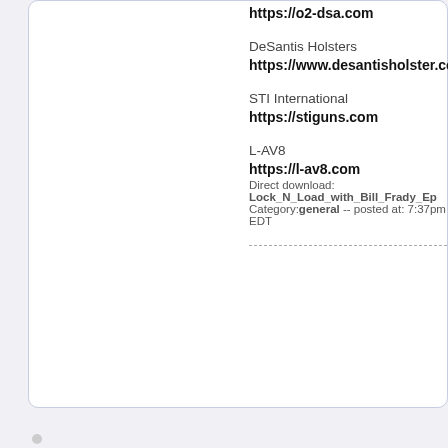https://o2-dsa.com
DeSantis Holsters
https://www.desantisholster.com
STI International
https://stiguns.com
L-AV8
https://l-av8.com
Direct download: Lock_N_Load_with_Bill_Frady_Ep Category:general -- posted at: 7:37pm EDT